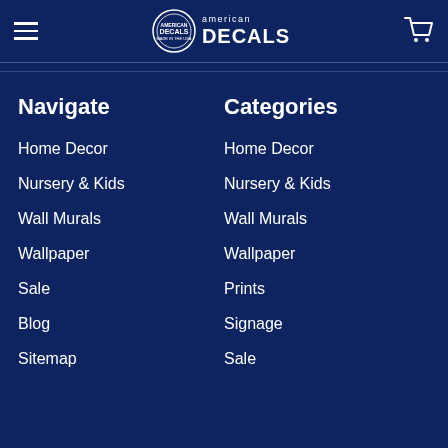American Decals - navigation header with logo and cart
Navigate
Home Decor
Nursery & Kids
Wall Murals
Wallpaper
Sale
Blog
Sitemap
Categories
Home Decor
Nursery & Kids
Wall Murals
Wallpaper
Prints
Signage
Sale